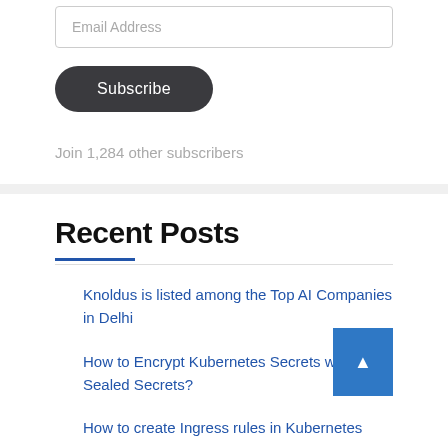Email Address
Subscribe
Join 1,284 other subscribers
Recent Posts
Knoldus is listed among the Top AI Companies in Delhi
How to Encrypt Kubernetes Secrets with Sealed Secrets?
How to create Ingress rules in Kubernetes